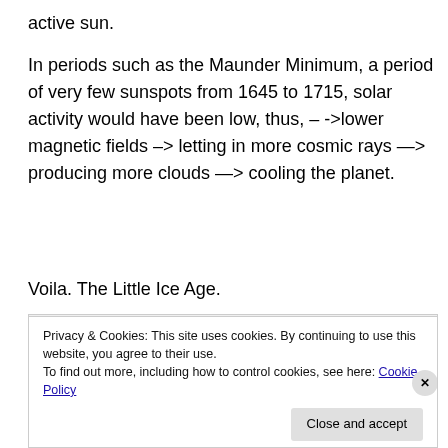active sun.
In periods such as the Maunder Minimum, a period of very few sunspots from 1645 to 1715, solar activity would have been low, thus, – ->lower magnetic fields –> letting in more cosmic rays —> producing more clouds —> cooling the planet.
Voila. The Little Ice Age.
[Figure (continuous-plot): A line chart showing sunspot number over 400 years with labels for Modern Maximum (~250) and a dotted reference line at 200. A blue vertical spike is visible near the right side.]
Privacy & Cookies: This site uses cookies. By continuing to use this website, you agree to their use.
To find out more, including how to control cookies, see here: Cookie Policy
Close and accept